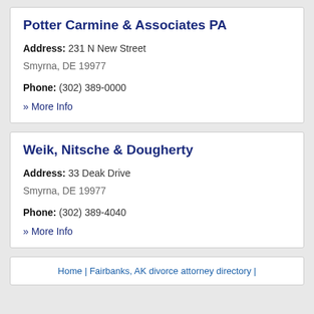Potter Carmine & Associates PA
Address: 231 N New Street
Smyrna, DE 19977
Phone: (302) 389-0000
» More Info
Weik, Nitsche & Dougherty
Address: 33 Deak Drive
Smyrna, DE 19977
Phone: (302) 389-4040
» More Info
Home | Fairbanks, AK divorce attorney directory |